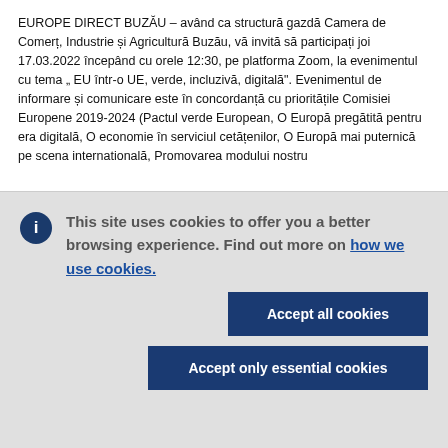EUROPE DIRECT BUZĂU – având ca structură gazdă Camera de Comerț, Industrie și Agricultură Buzău, vă invită să participați joi 17.03.2022 începând cu orele 12:30, pe platforma Zoom, la evenimentul cu tema „ EU într-o UE, verde, incluzivă, digitală". Evenimentul de informare și comunicare este în concordanță cu prioritățile Comisiei Europene 2019-2024 (Pactul verde European, O Europă pregătită pentru era digitală, O economie în serviciul cetățenilor, O Europă mai puternică pe scena internatională, Promovarea modului nostru
This site uses cookies to offer you a better browsing experience. Find out more on how we use cookies.
Accept all cookies
Accept only essential cookies